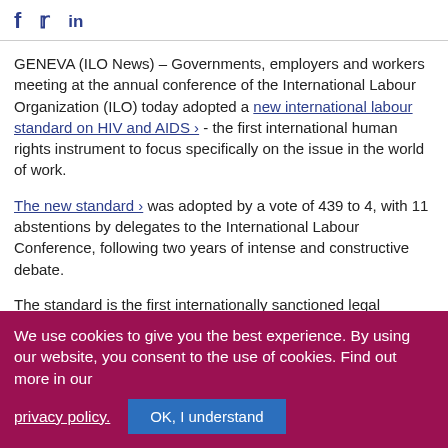[Figure (other): Social media share icons: Facebook (f), Twitter (bird), LinkedIn (in)]
GENEVA (ILO News) – Governments, employers and workers meeting at the annual conference of the International Labour Organization (ILO) today adopted a new international labour standard on HIV and AIDS › - the first international human rights instrument to focus specifically on the issue in the world of work.
The new standard › was adopted by a vote of 439 to 4, with 11 abstentions by delegates to the International Labour Conference, following two years of intense and constructive debate.
The standard is the first internationally sanctioned legal
We use cookies to give you the best experience. By using our website, you consent to the use of cookies. Find out more in our privacy policy. OK, I understand